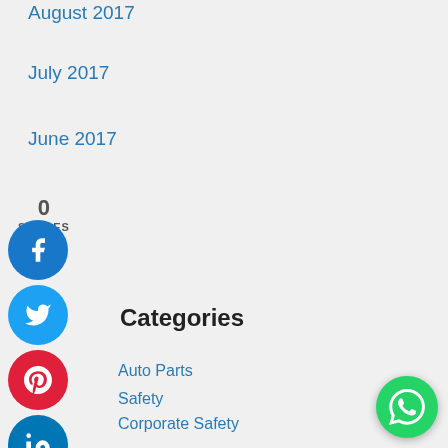August 2017
July 2017
June 2017
0
SHARES
Categories
Auto Parts
Safety
Corporate Safety
Driver Safety
Home Safety
Road Safety
Uncategorized
[Figure (other): Social share buttons: Facebook (blue circle), Twitter (blue circle), Pinterest (red circle), LinkedIn (blue circle), Email (green circle)]
[Figure (other): Phone call circle overlay with red phone icon]
[Figure (other): WhatsApp green circle button in bottom right]